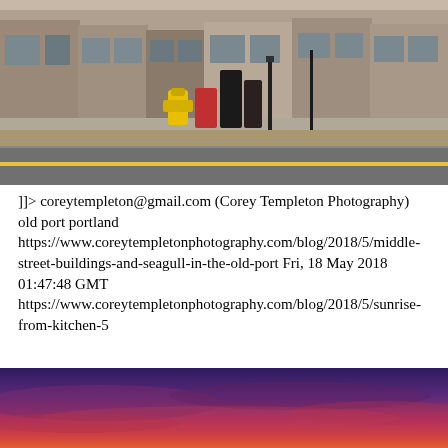[Figure (photo): Street scene with a yellow fire hydrant and red/black objects on a sidewalk, road with yellow line visible in foreground, buildings in background.]
]]> coreytempleton@gmail.com (Corey Templeton Photography) old port portland https://www.coreytempletonphotography.com/blog/2018/5/middle-street-buildings-and-seagull-in-the-old-port Fri, 18 May 2018 01:47:48 GMT https://www.coreytempletonphotography.com/blog/2018/5/sunrise-from-kitchen-5
[Figure (photo): Sunrise or sunset sky photo with deep purple at top fading to orange-red at bottom, smooth gradient clouds.]